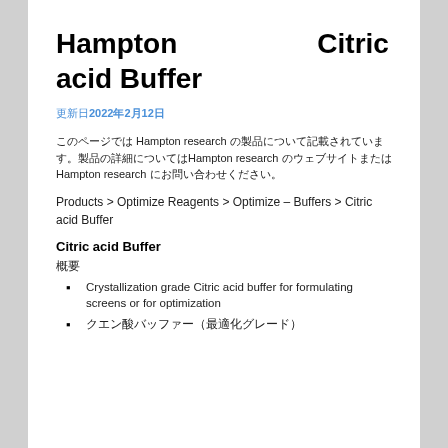Hampton　　　　Citric acid Buffer
更新日2022年2月12日
このページでは Hampton research の製品について記載されています。製品の詳細についてはHampton research のウェブサイトまたはHampton research にお問い合わせください。
Products > Optimize Reagents > Optimize – Buffers > Citric acid Buffer
Citric acid Buffer
概要
Crystallization grade Citric acid buffer for formulating screens or for optimization
クエン酸バッファー（最適化グレード）